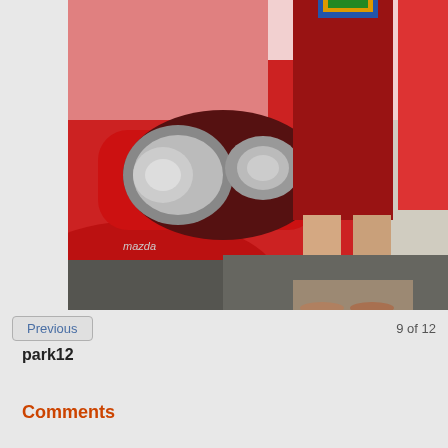[Figure (photo): Photo of a person in a red patterned dress standing next to a red Mazda car, showing the rear tail lights and the person's legs. The car's exhaust pipe is visible at the bottom.]
Previous
9 of 12
park12
Comments